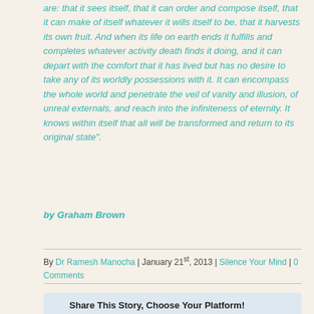are: that it sees itself, that it can order and compose itself, that it can make of itself whatever it wills itself to be, that it har-vests its own fruit. And when its life on earth ends it fulfills and completes whatever activi-ty death finds it doing, and it can depart with the comfort that it has lived but has no desire to take any of its worldly possessions with it. It can encompass the whole world and penetrate the veil of vanity and illusion, of unreal externals, and reach into the infinite-ness of eternity. It knows within itself that all will be transformed and return to its original state".
by Graham Brown
By Dr Ramesh Manocha | January 21st, 2013 | Silence Your Mind | 0 Comments
Share This Story, Choose Your Platform!